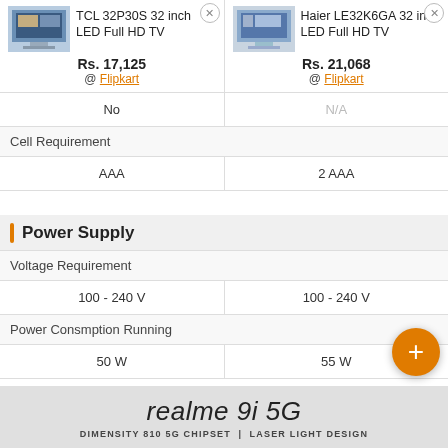| TCL 32P30S 32 inch LED Full HD TV | Haier LE32K6GA 32 inch LED Full HD TV |
| --- | --- |
| Rs. 17,125 @ Flipkart | Rs. 21,068 @ Flipkart |
| No | N/A |
| Cell Requirement | Cell Requirement |
| AAA | 2 AAA |
Power Supply
| TCL 32P30S | Haier LE32K6GA |
| --- | --- |
| Voltage Requirement | Voltage Requirement |
| 100 - 240 V | 100 - 240 V |
| Power Consmption Running | Power Consmption Running |
| 50 W | 55 W |
[Figure (advertisement): realme 9i 5G ad banner with text: DIMENSITY 810 5G CHIPSET | LASER LIGHT DESIGN]